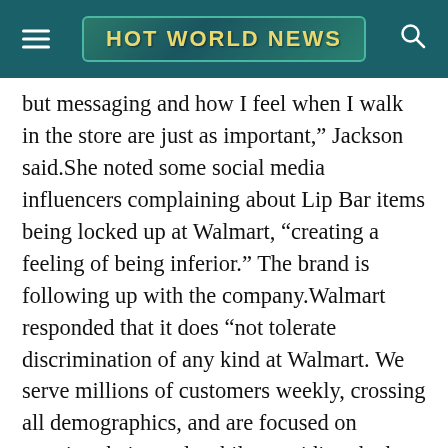HOT WORLD NEWS
but messaging and how I feel when I walk in the store are just as important,” Jackson said.She noted some social media influencers complaining about Lip Bar items being locked up at Walmart, “creating a feeling of being inferior.” The brand is following up with the company.Walmart responded that it does “not tolerate discrimination of any kind at Walmart. We serve millions of customers weekly, crossing all demographics, and are focused on meeting their needs while providing the best shopping experience at each store.”The problems facing Black-owned brands are not new.Beauty brands for Black women have been around for years, but they’ve struggled to get shelf space in stores, says Tiffany Gill, an associate professor of history at